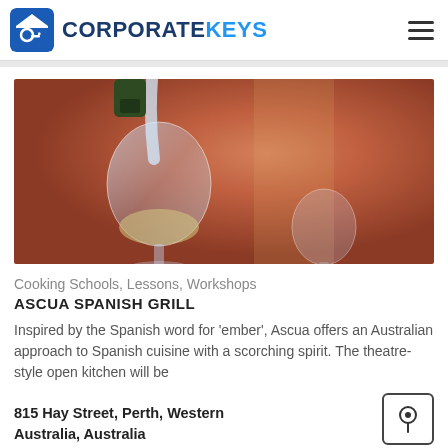CORPORATEKEYS
[Figure (photo): A bottle of wine being poured into a large wine glass, with another glass in the background, against a warm terracotta/orange-red wall backdrop.]
Cooking Schools, Lessons, Workshops
ASCUA SPANISH GRILL
Inspired by the Spanish word for 'ember', Ascua offers an Australian approach to Spanish cuisine with a scorching spirit. The theatre-style open kitchen will be
815 Hay Street, Perth, Western Australia, Australia